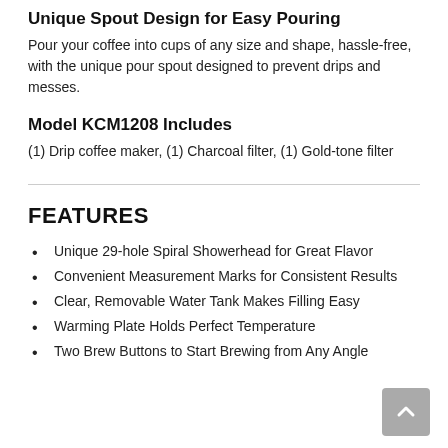Unique Spout Design for Easy Pouring
Pour your coffee into cups of any size and shape, hassle-free, with the unique pour spout designed to prevent drips and messes.
Model KCM1208 Includes
(1) Drip coffee maker, (1) Charcoal filter, (1) Gold-tone filter
FEATURES
Unique 29-hole Spiral Showerhead for Great Flavor
Convenient Measurement Marks for Consistent Results
Clear, Removable Water Tank Makes Filling Easy
Warming Plate Holds Perfect Temperature
Two Brew Buttons to Start Brewing from Any Angle